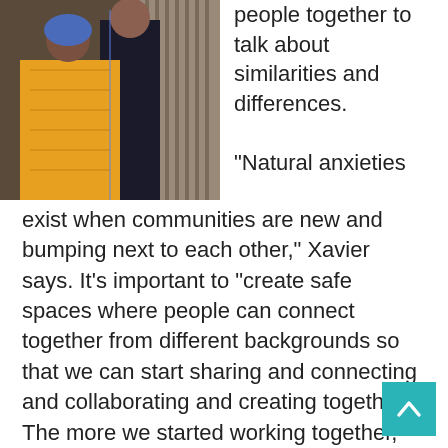[Figure (photo): Two people standing together, one wearing a yellow/orange patterned dress and blue headscarf, the other in a dark outfit, in front of a corrugated metal background.]
people together to talk about similarities and differences.
“Natural anxieties exist when communities are new and bumping next to each other,” Xavier says. It’s important to “create safe spaces where people can connect together from different backgrounds so that we can start sharing and connecting and collaborating and creating together. The more we started working together, the more we realized how similar some of our stories were.”
Xavier says community social cohesion forms when trust is built.
“That can’t happen if we’re not communicating, if